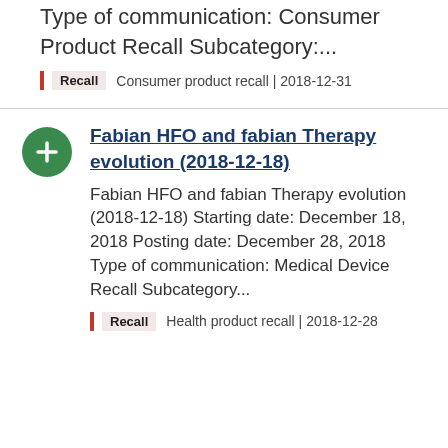Type of communication: Consumer Product Recall Subcategory:...
Recall  Consumer product recall | 2018-12-31
Fabian HFO and fabian Therapy evolution (2018-12-18)
Fabian HFO and fabian Therapy evolution (2018-12-18) Starting date: December 18, 2018 Posting date: December 28, 2018 Type of communication: Medical Device Recall Subcategory...
Recall  Health product recall | 2018-12-28